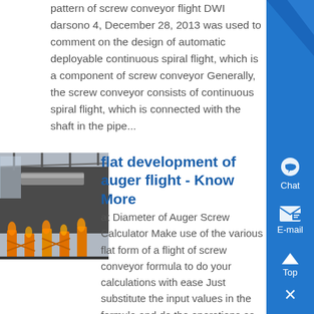pattern of screw conveyor flight DWI darsono 4, December 28, 2013 was used to comment on the design of automatic deployable continuous spiral flight, which is a component of screw conveyor Generally, the screw conveyor consists of continuous spiral flight, which is connected with the shaft in the pipe...
[Figure (photo): Industrial photo showing metalwork or fabrication scene with orange scaffolding/supports]
flat development of auger flight - Know More
at Diameter of Auger Screw Calculator Make use of the various flat form of a flight of screw conveyor formula to do your calculations with ease Just substitute the input values in the formula and do the operations as guided by the formula to get the result...